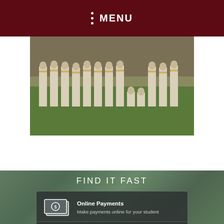MENU
[Figure (photo): Team photo of baseball/sports players in white and yellow uniforms standing on a grass field]
FIND IT FAST
Online Payments
Make payments online for your student